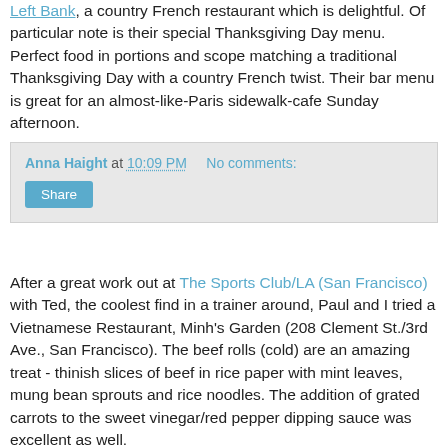Left Bank, a country French restaurant which is delightful. Of particular note is their special Thanksgiving Day menu. Perfect food in portions and scope matching a traditional Thanksgiving Day with a country French twist. Their bar menu is great for an almost-like-Paris sidewalk-cafe Sunday afternoon.
Anna Haight at 10:09 PM   No comments:
Share
After a great work out at The Sports Club/LA (San Francisco) with Ted, the coolest find in a trainer around, Paul and I tried a Vietnamese Restaurant, Minh's Garden (208 Clement St./3rd Ave., San Francisco). The beef rolls (cold) are an amazing treat - thinish slices of beef in rice paper with mint leaves, mung bean sprouts and rice noodles. The addition of grated carrots to the sweet vinegar/red pepper dipping sauce was excellent as well.